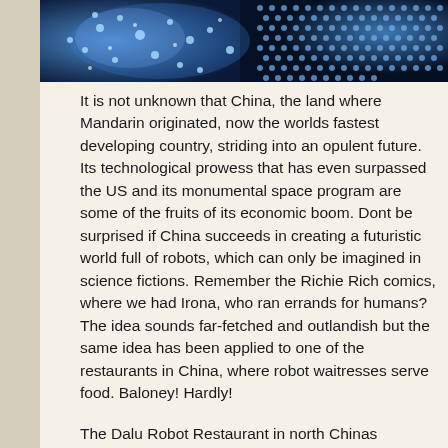[Figure (photo): Blue glowing dots/circuit-like pattern on dark background, partially visible at top of page]
It is not unknown that China, the land where Mandarin originated, now the worlds fastest developing country, striding into an opulent future. Its technological prowess that has even surpassed the US and its monumental space program are some of the fruits of its economic boom. Dont be surprised if China succeeds in creating a futuristic world full of robots, which can only be imagined in science fictions. Remember the Richie Rich comics, where we had Irona, who ran errands for humans? The idea sounds far-fetched and outlandish but the same idea has been applied to one of the restaurants in China, where robot waitresses serve food. Baloney! Hardly!
The Dalu Robot Restaurant in north Chinas Shandong province has been making headlines from the day it came into existence. The staff of this restaurant comprises six waitresses, all of whom are robots. These robots have been manufactured by the Shandong Dalu Science and Technology Company and programmed to serve up to 100 diners along a fixed trajectory. To ensure uninterrupted service, twenty one tables are arranged in circles and diners are served in rotation. If you participate in our study abroad programs